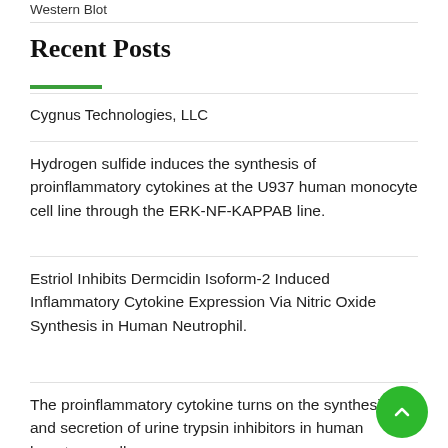Western Blot
Recent Posts
Cygnus Technologies, LLC
Hydrogen sulfide induces the synthesis of proinflammatory cytokines at the U937 human monocyte cell line through the ERK-NF-KAPPAB line.
Estriol Inhibits Dermcidin Isoform-2 Induced Inflammatory Cytokine Expression Via Nitric Oxide Synthesis in Human Neutrophil.
The proinflammatory cytokine turns on the synthesis and secretion of urine trypsin inhibitors in human hepatoma cells.